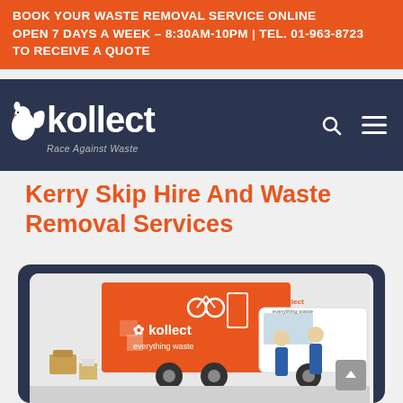BOOK YOUR WASTE REMOVAL SERVICE ONLINE
OPEN 7 DAYS A WEEK – 8:30AM-10PM | TEL. 01-963-8723
TO RECEIVE A QUOTE
[Figure (logo): Kollect logo with squirrel icon and tagline 'Race Against Waste' on dark navy background, with search and menu icons]
Kerry Skip Hire And Waste Removal Services
[Figure (photo): Kollect branded orange truck and van with two workers in blue uniforms, various waste items shown on the truck side]